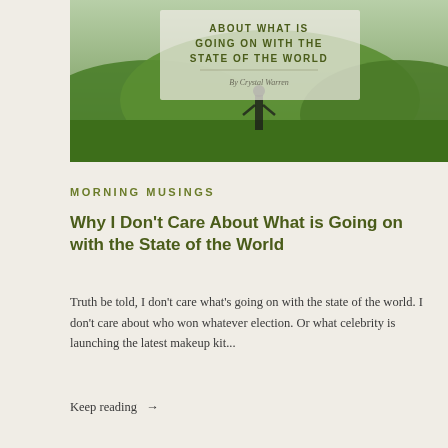[Figure (photo): A hero image showing a person standing on green rolling hills with overlaid text reading 'ABOUT WHAT IS GOING ON WITH THE STATE OF THE WORLD' and 'By Crystal Warren' in a semi-transparent white box.]
Morning Musings
Why I Don’t Care About What is Going on with the State of the World
Truth be told, I don't care what's going on with the state of the world. I don't care about who won whatever election. Or what celebrity is launching the latest makeup kit...
Keep reading →